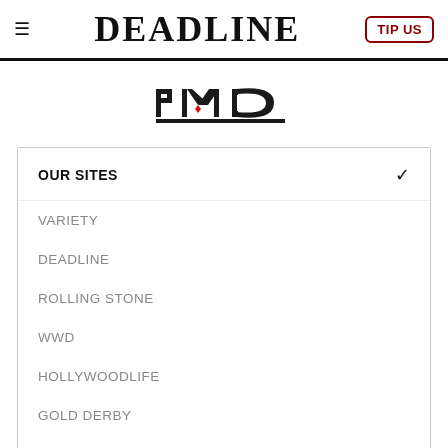≡  DEADLINE  TIP US
[Figure (logo): PMC logo — stylized letters P M C with a red chevron accent above the M]
OUR SITES
VARIETY
DEADLINE
ROLLING STONE
WWD
HOLLYWOODLIFE
GOLD DERBY
SPY
ROBB REPORT